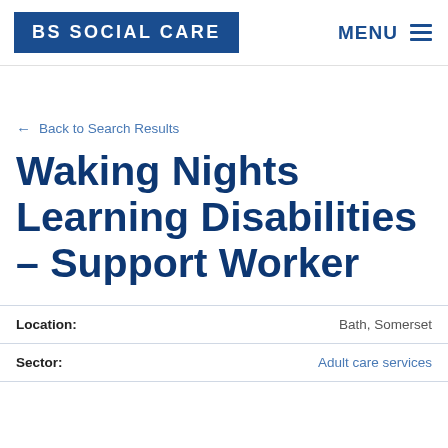BS SOCIAL CARE | MENU
← Back to Search Results
Waking Nights Learning Disabilities – Support Worker
| Field | Value |
| --- | --- |
| Location: | Bath, Somerset |
| Sector: | Adult care services |